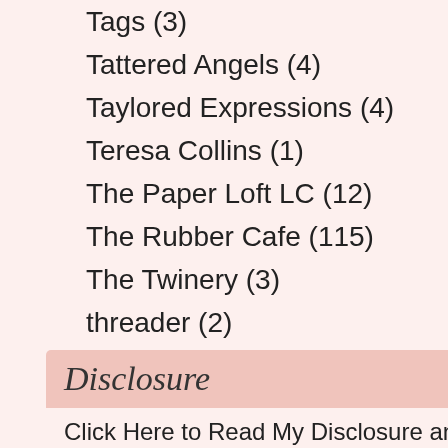Tags (3)
Tattered Angels (4)
Taylored Expressions (4)
Teresa Collins (1)
The Paper Loft LC (12)
The Rubber Cafe (115)
The Twinery (3)
threader (2)
Tonic Studios (42)
Tutorials (34)
Unity Stamp Co. (10)
Verve Stamps (13)
video (64)
Want2Scrap (7)
WorldWin Papers (2)
WPlus9 (1)
Disclosure
Click Here to Read My Disclosure and How
[Figure (photo): Thumbnail image blue/grey with line art]
1. Bot Hap
Pos
[Figure (photo): Dark green square with white geometric starburst pattern]
2. Wh
Pos
[Figure (photo): Light green square with white geometric starburst pattern]
3. Wh par pos
Pos
[Figure (photo): Blue-grey thumbnail with abstract line art]
4. Gre ma you
Pos